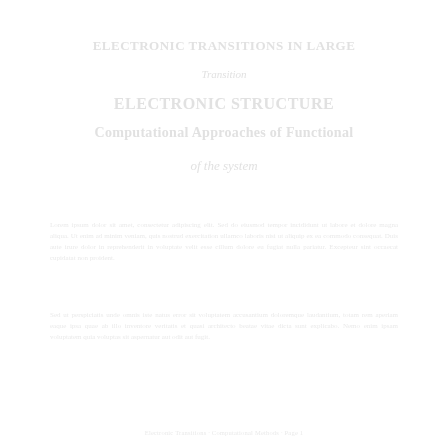ELECTRONIC TRANSITIONS IN LARGE
Transition
ELECTRONIC STRUCTURE
Computational Approaches of Func...
of the system